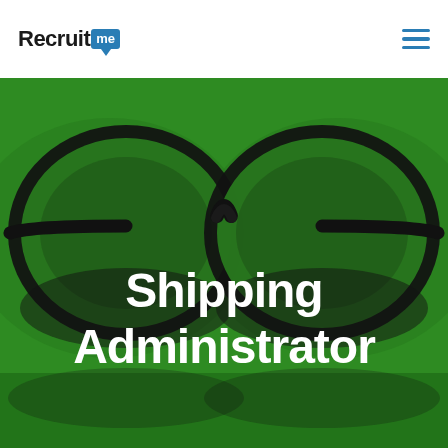RecruitMe
[Figure (photo): Large green-background hero image with black-rimmed round eyeglasses centered across the image, overlaid with white bold text reading 'Shipping Administrator']
Shipping Administrator